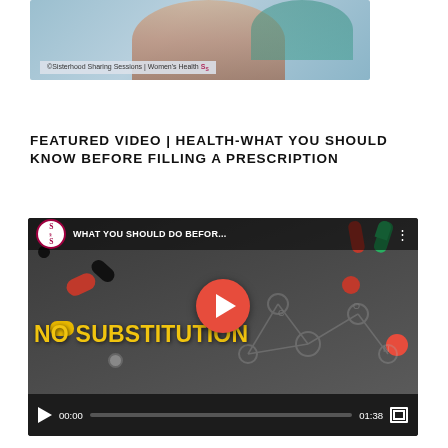[Figure (screenshot): Top partial image showing a woman with text overlay reading '©Sisterhood Sharing Sessions | Women's Health' with a logo on the right]
FEATURED VIDEO | HEALTH-WHAT YOU SHOULD KNOW BEFORE FILLING A PRESCRIPTION
[Figure (screenshot): YouTube video thumbnail showing colorful pills and capsules with text 'NO SUBSTITUTION' in yellow, with YouTube play button in center, video title 'WHAT YOU SHOULD DO BEFOR...' at top with SSS logo, and video controls bar at bottom showing 00:00 / 01:38 with play button, progress bar, and fullscreen icon]